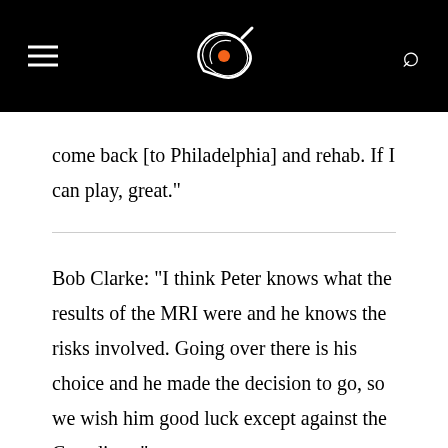[Figure (logo): Philadelphia Flyers logo (orange and white hockey stick/skate wing mark) centered in black header bar, with hamburger menu icon on the left and search icon on the right]
come back [to Philadelphia] and rehab. If I can play, great."
Bob Clarke: "I think Peter knows what the results of the MRI were and he knows the risks involved. Going over there is his choice and he made the decision to go, so we wish him good luck except against the Canadians."
Are you at all concerned with his health?
BC: "I'm concerned for every player that goes over there